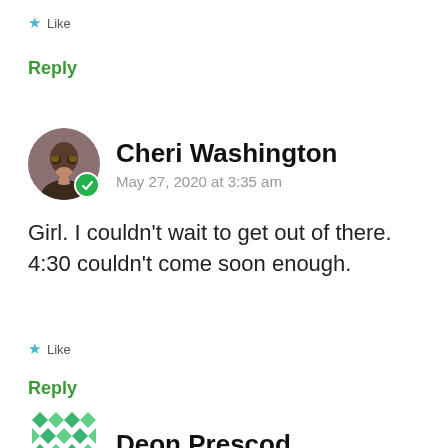★ Like
Reply
Cheri Washington
May 27, 2020 at 3:35 am
Girl. I couldn't wait to get out of there. 4:30 couldn't come soon enough.
★ Like
Reply
Deon Prescod